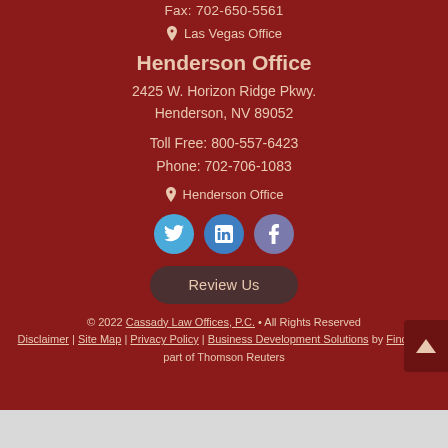Fax: 702-650-5561
📍 Las Vegas Office
Henderson Office
2425 W. Horizon Ridge Pkwy.
Henderson, NV 89052
Toll Free: 800-557-6423
Phone: 702-706-1083
📍 Henderson Office
[Figure (other): Social media icons for Twitter, LinkedIn, and Facebook]
Review Us
© 2022 Cassady Law Offices, P.C. • All Rights Reserved
Disclaimer | Site Map | Privacy Policy | Business Development Solutions by FindLaw, part of Thomson Reuters